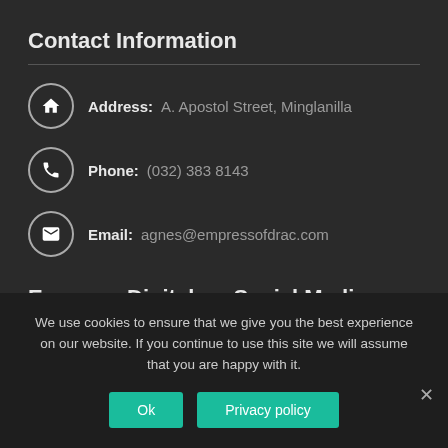Contact Information
Address: A. Apostol Street, Minglanilla
Phone: (032) 383 8143
Email: agnes@empressofdrac.com
Empress Digital on Social Media
We use cookies to ensure that we give you the best experience on our website. If you continue to use this site we will assume that you are happy with it.